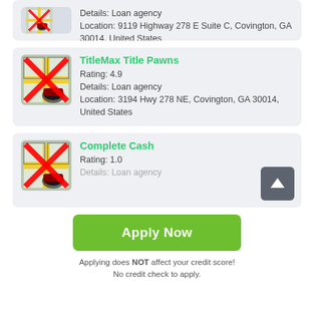[Figure (screenshot): Partial card at top showing map icon with red X and loan agency details: Location 9119 Highway 278 E Suite C, Covington, GA 30014, United States]
TitleMax Title Pawns
Rating: 4.9
Details: Loan agency
Location: 3194 Hwy 278 NE, Covington, GA 30014, United States
Complete Cash
Rating: 1.0
Details: Loan agency
Apply Now
Applying does NOT affect your credit score!
No credit check to apply.